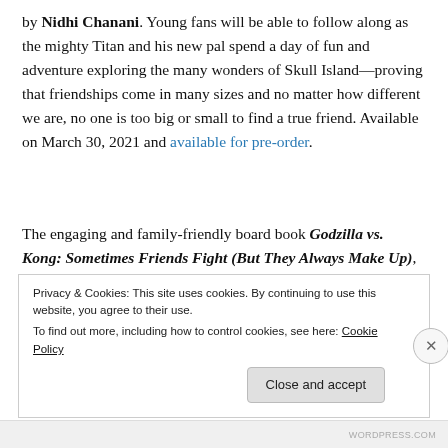by Nidhi Chanani. Young fans will be able to follow along as the mighty Titan and his new pal spend a day of fun and adventure exploring the many wonders of Skull Island—proving that friendships come in many sizes and no matter how different we are, no one is too big or small to find a true friend. Available on March 30, 2021 and available for pre-order.
The engaging and family-friendly board book Godzilla vs. Kong: Sometimes Friends Fight (But They Always Make Up), from Insight Editions and featuring art from illustrator Carol Herring, features
Privacy & Cookies: This site uses cookies. By continuing to use this website, you agree to their use.
To find out more, including how to control cookies, see here: Cookie Policy
Close and accept